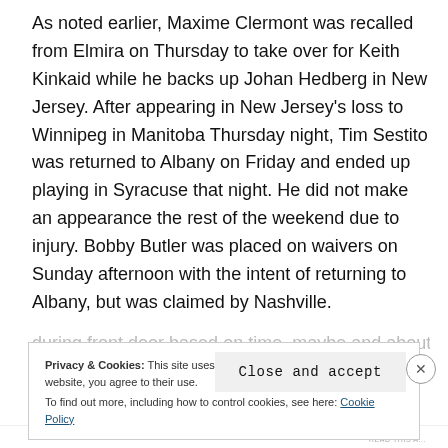As noted earlier, Maxime Clermont was recalled from Elmira on Thursday to take over for Keith Kinkaid while he backs up Johan Hedberg in New Jersey. After appearing in New Jersey's loss to Winnipeg in Manitoba Thursday night, Tim Sestito was returned to Albany on Friday and ended up playing in Syracuse that night. He did not make an appearance the rest of the weekend due to injury. Bobby Butler was placed on waivers on Sunday afternoon with the intent of returning to Albany, but was claimed by Nashville.
Privacy & Cookies: This site uses cookies. By continuing to use this website, you agree to their use. To find out more, including how to control cookies, see here: Cookie Policy
Close and accept